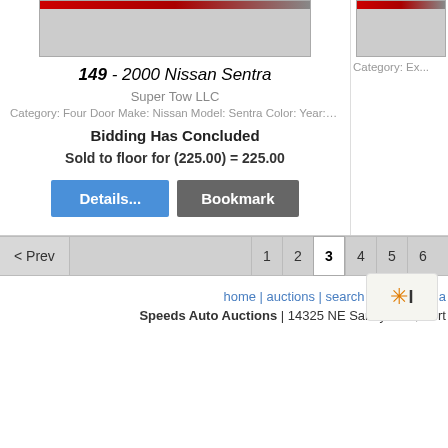[Figure (photo): Partial view of a vehicle lot image for 2000 Nissan Sentra]
149 - 2000 Nissan Sentra
Super Tow LLC
Category: Four Door Make: Nissan Model: Sentra Color: Year: 2000 VI...
Bidding Has Concluded
Sold to floor for (225.00) = 225.00
Category: Ex...
home | auctions | search items | your a
Speeds Auto Auctions | 14325 NE Sandy Blvd, Port